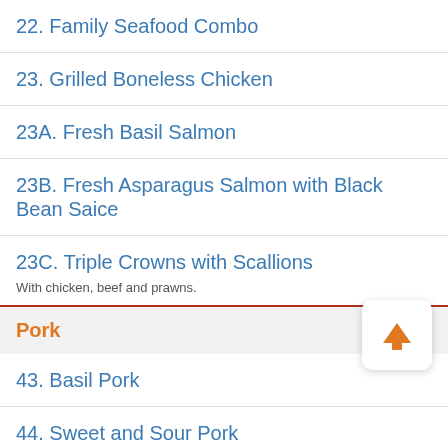22. Family Seafood Combo
23. Grilled Boneless Chicken
23A. Fresh Basil Salmon
23B. Fresh Asparagus Salmon with Black Bean Saice
23C. Triple Crowns with Scallions
With chicken, beef and prawns.
Pork
43. Basil Pork
44. Sweet and Sour Pork
45. Shredded Pork with Bean Curd
46. Shredded Pork with Green Bean